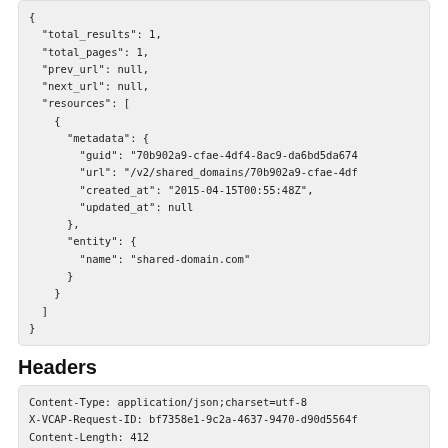{
  "total_results": 1,
  "total_pages": 1,
  "prev_url": null,
  "next_url": null,
  "resources": [
    {
      "metadata": {
        "guid": "70b902a9-cfae-4df4-8ac9-da6bd5da674
        "url": "/v2/shared_domains/70b902a9-cfae-4df
        "created_at": "2015-04-15T00:55:48Z",
        "updated_at": null
      },
      "entity": {
        "name": "shared-domain.com"
      }
    }
  ]
}
Headers
Content-Type: application/json;charset=utf-8
X-VCAP-Request-ID: bf7358e1-9c2a-4637-9470-d90d5564f
Content-Length: 412